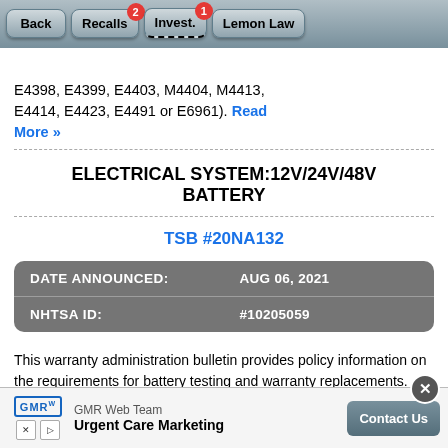Back | Recalls (2) | Invest. (1) | Lemon Law
E4398, E4399, E4403, M4404, M4413, E4414, E4423, E4491 or E6961). Read More »
ELECTRICAL SYSTEM:12V/24V/48V BATTERY
TSB #20NA132
| DATE ANNOUNCED: | AUG 06, 2021 |
| --- | --- |
| NHTSA ID: | #10205059 |
This warranty administration bulletin provides policy information on the requirements for battery testing and warranty replacements. Read More »
TSB #N202308320
DATE A...
[Figure (screenshot): Advertisement overlay: GMR Web Team - Urgent Care Marketing with Contact Us button]